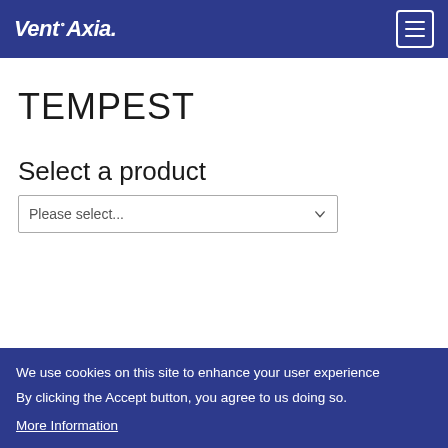Vent-Axia
TEMPEST
Select a product
Please select...
We use cookies on this site to enhance your user experience
By clicking the Accept button, you agree to us doing so.
More Information